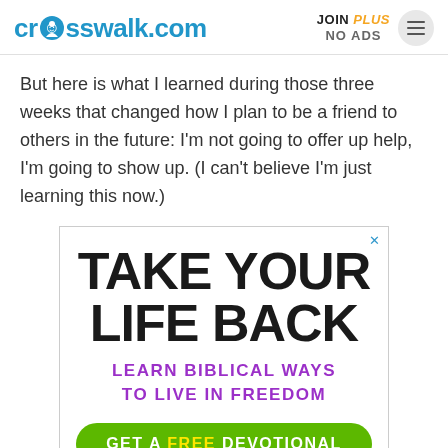crosswalk.com | JOIN PLUS NO ADS
But here is what I learned during those three weeks that changed how I plan to be a friend to others in the future: I'm not going to offer up help, I'm going to show up. (I can't believe I'm just learning this now.)
[Figure (other): Advertisement banner reading 'TAKE YOUR LIFE BACK - LEARN BIBLICAL WAYS TO LIVE IN FREEDOM' with a green button 'GET A FREE DEVOTIONAL']